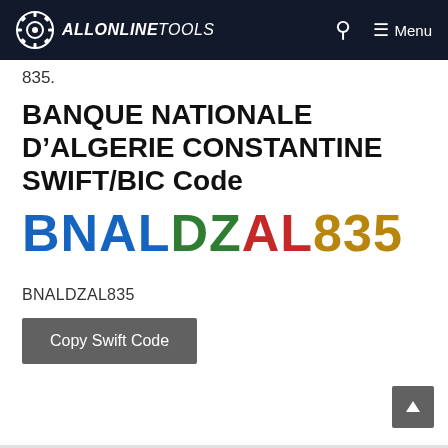ALLONLINETOOLS — Menu
835.
BANQUE NATIONALE D'ALGERIE CONSTANTINE SWIFT/BIC Code
BNALDZAL835
BNALDZAL835
Copy Swift Code